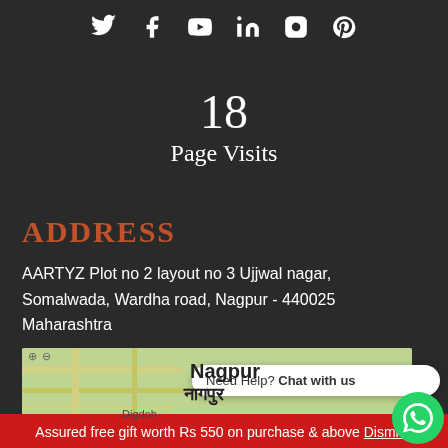[Figure (other): Social media icons row: Twitter, Facebook, YouTube, LinkedIn, Instagram, Pinterest]
18
Page Visits
ADDRESS
AARTYZ Plot no 2 layout no 3 Ujjwal nagar, Somalwada, Wardha road, Nagpur - 440025 Maharashtra
[Figure (map): Map showing Nagpur / नागपुर location with road network]
Need Help? Chat with us
Assured free gift worth Rs 550 on purchase above Dismiss